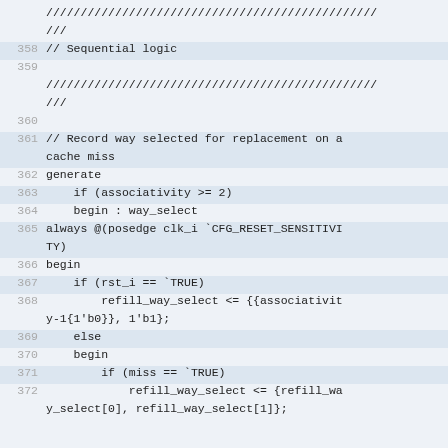// Sequential logic (code block lines 357-372)